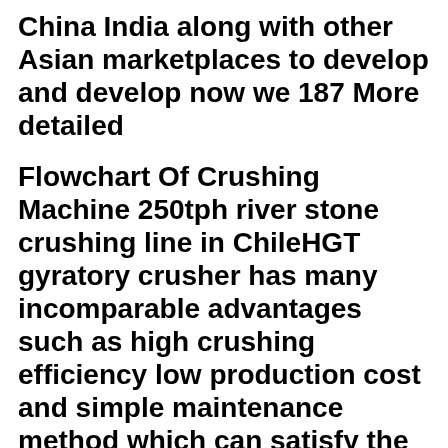China India along with other Asian marketplaces to develop and develop now we 187 More detailed
Flowchart Of Crushing Machine 250tph river stone crushing line in ChileHGT gyratory crusher has many incomparable advantages such as high crushing efficiency low production cost and simple maintenance method which can satisfy the requirements about high efficiency and coarse crushing Three combinations mobile crushing plant Four
Sep 01 2015 0183 32 Video and animation produced by Solid Edge